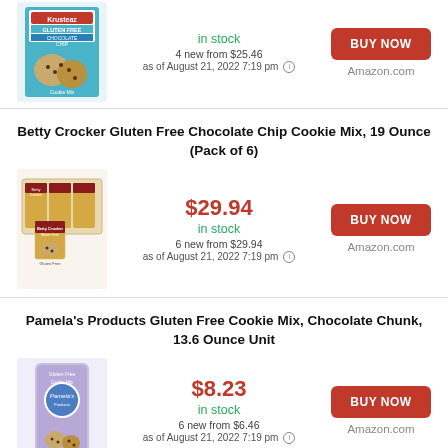[Figure (photo): Krusteaz Gluten Free Chocolate Chip Cookie Mix box (partial, top of page)]
in stock
4 new from $25.46
as of August 21, 2022 7:19 pm
[Figure (other): BUY NOW button (red)]
Amazon.com
Betty Crocker Gluten Free Chocolate Chip Cookie Mix, 19 Ounce (Pack of 6)
[Figure (photo): Betty Crocker Gluten Free Chocolate Chip Cookie Mix box, pack of 6]
$29.94
in stock
6 new from $29.94
as of August 21, 2022 7:19 pm
[Figure (other): BUY NOW button (red)]
Amazon.com
Pamela's Products Gluten Free Cookie Mix, Chocolate Chunk, 13.6 Ounce Unit
[Figure (photo): Pamela's Products Gluten Free Cookie Mix bag (partial, bottom of page)]
$8.23
in stock
6 new from $6.46
as of August 21, 2022 7:19 pm
[Figure (other): BUY NOW button (red)]
Amazon.com